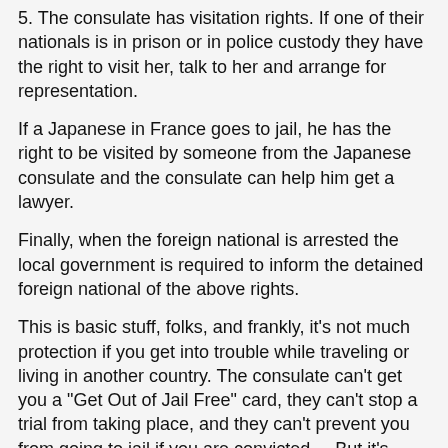5. The consulate has visitation rights. If one of their nationals is in prison or in police custody they have the right to visit her, talk to her and arrange for representation.
If a Japanese in France goes to jail, he has the right to be visited by someone from the Japanese consulate and the consulate can help him get a lawyer.
Finally, when the foreign national is arrested the local government is required to inform the detained foreign national of the above rights.
This is basic stuff, folks, and frankly, it's not much protection if you get into trouble while traveling or living in another country. The consulate can't get you a "Get Out of Jail Free" card, they can't stop a trial from taking place, and they can't prevent you from going to jail if you are convicted.    But it's something.  Generally, it is respected because, hey, no country wants to see its nationals abused while abroad.  It makes the sending state look weak for one thing - if a state cannot protect its people, what good is it?
Americans might be surprised to learn that there is one